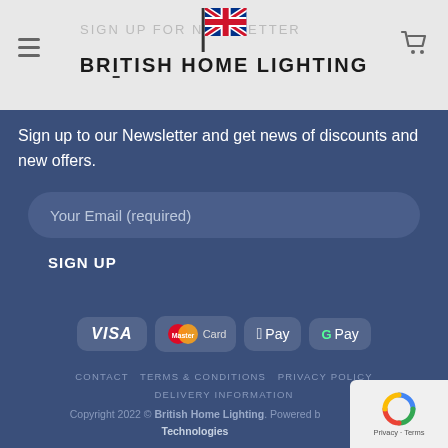BRITISH HOME LIGHTING
Sign up to our Newsletter and get news of discounts and new offers.
Your Email (required)
SIGN UP
[Figure (infographic): Payment method logos: VISA, MasterCard, Apple Pay, Google Pay]
CONTACT   TERMS & CONDITIONS   PRIVACY POLICY   DELIVERY INFORMATION
Copyright 2022 © British Home Lighting. Powered by Technologies